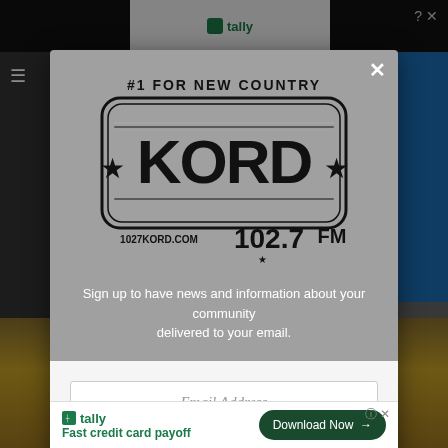[Figure (screenshot): Background webpage with dark top bar, Tally ad strip, blue banner elements, and gold/brown bottom area, partially obscured by modal overlay]
[Figure (logo): KORD 102.7 FM radio station logo with '#1 FOR NEW COUNTRY' tagline, star decorations, and 1027KORD.COM URL in black and white stamp style]
Sign up to have news and information about your community delivered to your email.
Email Address
Like Us On Facebook
[Figure (screenshot): Bottom advertisement strip showing Tally app logo and 'Fast credit card payoff' text with 'Download Now' button]